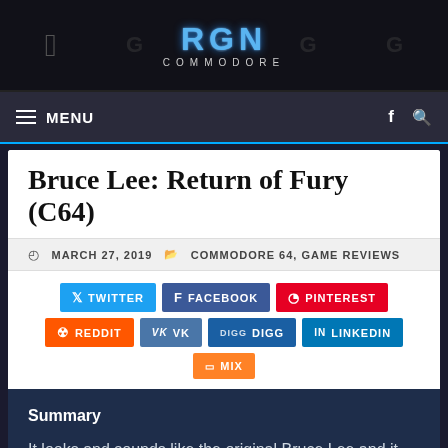RGN COMMODORE
Bruce Lee: Return of Fury (C64)
MARCH 27, 2019  COMMODORE 64, GAME REVIEWS
TWITTER FACEBOOK PINTEREST REDDIT VK DIGG LINKEDIN MIX
Summary
It looks and sounds like the original Bruce Lee and it plays like the original Bruce Lee. The new game map is well executed to provide fans with a new authentic Bruce Lee experience.